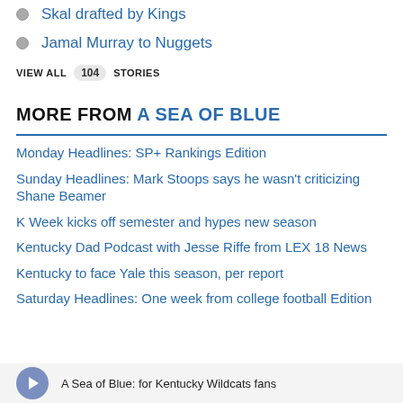Skal drafted by Kings
Jamal Murray to Nuggets
VIEW ALL 104 STORIES
MORE FROM A SEA OF BLUE
Monday Headlines: SP+ Rankings Edition
Sunday Headlines: Mark Stoops says he wasn't criticizing Shane Beamer
K Week kicks off semester and hypes new season
Kentucky Dad Podcast with Jesse Riffe from LEX 18 News
Kentucky to face Yale this season, per report
Saturday Headlines: One week from college football Edition
A Sea of Blue: for Kentucky Wildcats fans